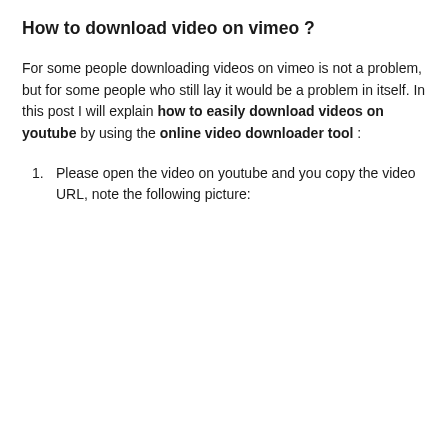How to download video on vimeo ?
For some people downloading videos on vimeo is not a problem, but for some people who still lay it would be a problem in itself. In this post I will explain how to easily download videos on youtube by using the online video downloader tool :
Please open the video on youtube and you copy the video URL, note the following picture: